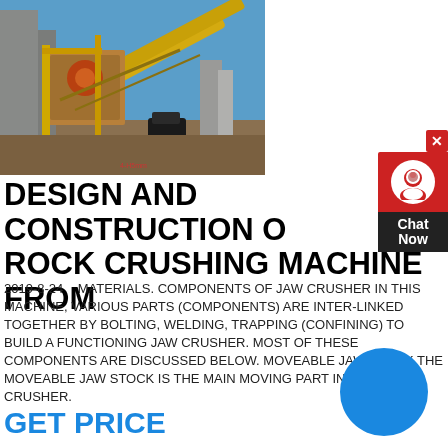[Figure (photo): Industrial rock crushing / jaw crusher machine facility outdoors with blue sky, yellow conveyor belts and machinery, concrete pillars.]
DESIGN AND CONSTRUCTION OF ROCK CRUSHING MACHINE FROM
2019-8-24   MATERIALS. COMPONENTS OF JAW CRUSHER IN THIS MACHINE, VARIOUS PARTS (COMPONENTS) ARE INTER-LINKED TOGETHER BY BOLTING, WELDING, TRAPPING (CONFINING) TO BUILD A FUNCTIONING JAW CRUSHER. MOST OF THESE COMPONENTS ARE DISCUSSED BELOW. MOVEABLE JAW STOCK THE MOVEABLE JAW STOCK IS THE MAIN MOVING PART IN A JAW CRUSHER.
GET PRICE